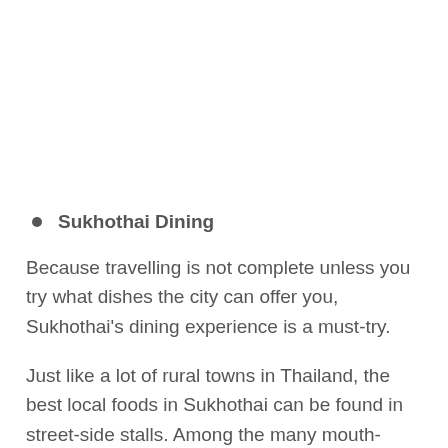Sukhothai Dining
Because travelling is not complete unless you try what dishes the city can offer you, Sukhothai's dining experience is a must-try.
Just like a lot of rural towns in Thailand, the best local foods in Sukhothai can be found in street-side stalls. Among the many mouth-watering dishes Sukhothai has,